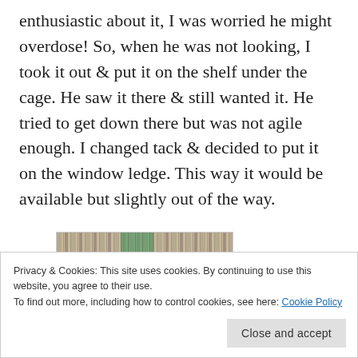enthusiastic about it, I was worried he might overdose!  So, when he was not looking, I took it out & put it on the shelf under the cage.  He saw it there & still wanted it.  He tried to get down there but was not agile enough.  I changed tack & decided to put it on the window ledge.  This way it would be available but slightly out of the way.
[Figure (photo): Partial photo of what appears to be a row of books or a cage shelf with a green object visible]
Privacy & Cookies: This site uses cookies. By continuing to use this website, you agree to their use.
To find out more, including how to control cookies, see here: Cookie Policy
Phineas trying out the salt